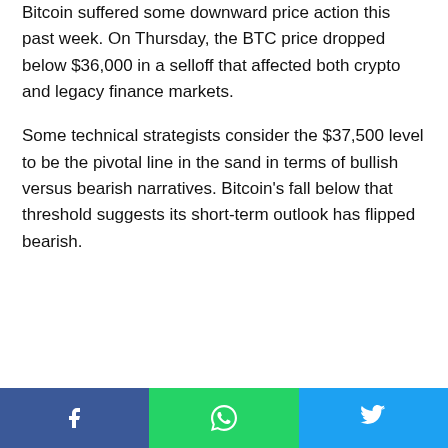Bitcoin suffered some downward price action this past week. On Thursday, the BTC price dropped below $36,000 in a selloff that affected both crypto and legacy finance markets.
Some technical strategists consider the $37,500 level to be the pivotal line in the sand in terms of bullish versus bearish narratives. Bitcoin's fall below that threshold suggests its short-term outlook has flipped bearish.
Share buttons: Facebook, WhatsApp, Twitter